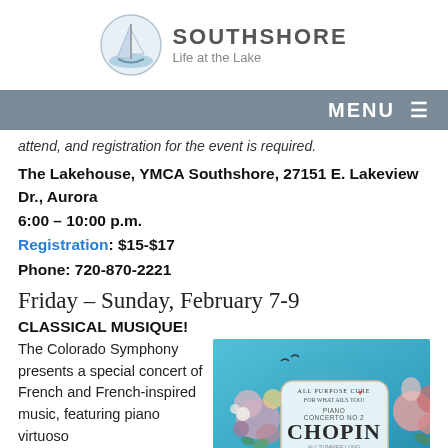[Figure (logo): Southshore Life at the Lake logo with sailboat icon]
MENU ≡
attend, and registration for the event is required.
The Lakehouse, YMCA Southshore, 27151 E. Lakeview Dr., Aurora
6:00 – 10:00 p.m.
Registration: $15-$17
Phone: 720-870-2221
Friday – Sunday, February 7-9
CLASSICAL MUSIQUE!
The Colorado Symphony presents a special concert of French and French-inspired music, featuring piano virtuoso
[Figure (photo): Promotional poster for Chopin Piano Concerto No 2 featuring floral design with text 'All Purpose Cure For What Ails Too! Piano Concerto No 2 Chopin All Summer Long Fabio Bidini On The Keys']